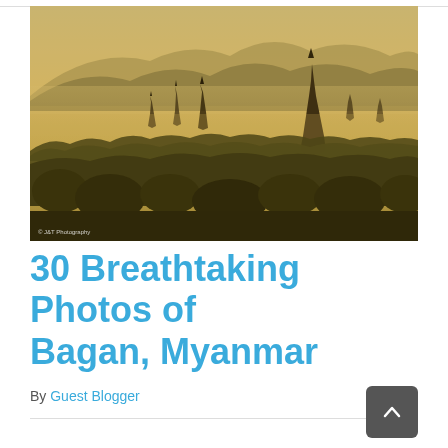[Figure (photo): Aerial photograph of Bagan, Myanmar at golden hour showing ancient temple spires rising through misty hazy air above a vast plain covered with trees, mountains visible in background. Warm golden-yellow light suffuses the scene. Watermark reading '© J&T Photography' in lower left.]
30 Breathtaking Photos of Bagan, Myanmar
By Guest Blogger